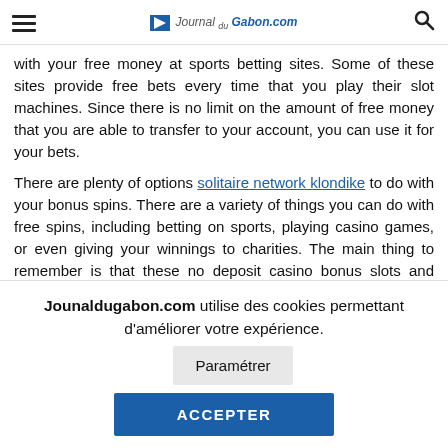Journal du Gabon.com
with your free money at sports betting sites. Some of these sites provide free bets every time that you play their slot machines. Since there is no limit on the amount of free money that you are able to transfer to your account, you can use it for your bets.

There are plenty of options solitaire network klondike to do with your bonus spins. There are a variety of things you can do with free spins, including betting on sports, playing casino games, or even giving your winnings to charities. The main thing to remember is that these no deposit casino bonus slots and other gambling websites are great for gamblers looking to have fun playing all the free spins. They don't cost any money, and you're not bound by any set amount of time you are able to spend on every slot machine. Try your luck today and
Jounaldugabon.com utilise des cookies permettant d'améliorer votre expérience.
Paramétrer
ACCEPTER